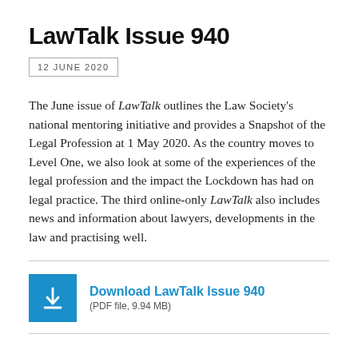LawTalk Issue 940
12 JUNE 2020
The June issue of LawTalk outlines the Law Society's national mentoring initiative and provides a Snapshot of the Legal Profession at 1 May 2020. As the country moves to Level One, we also look at some of the experiences of the legal profession and the impact the Lockdown has had on legal practice. The third online-only LawTalk also includes news and information about lawyers, developments in the law and practising well.
Download LawTalk Issue 940
(PDF file, 9.94 MB)